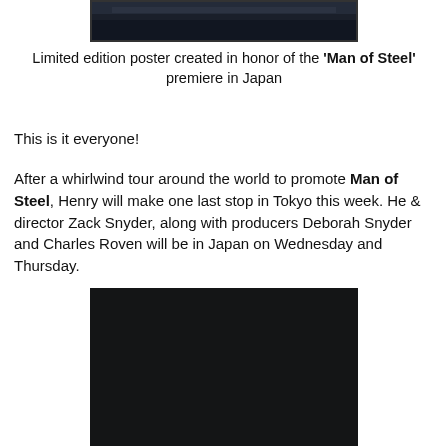[Figure (photo): Top portion of a dark movie poster image for Man of Steel, showing a dark stormy sky.]
Limited edition poster created in honor of the 'Man of Steel' premiere in Japan
This is it everyone!
After a whirlwind tour around the world to promote Man of Steel, Henry will make one last stop in Tokyo this week. He & director Zack Snyder, along with producers Deborah Snyder and Charles Roven will be in Japan on Wednesday and Thursday.
[Figure (photo): A mostly black/dark image, likely a movie still or promotional photo for Man of Steel.]